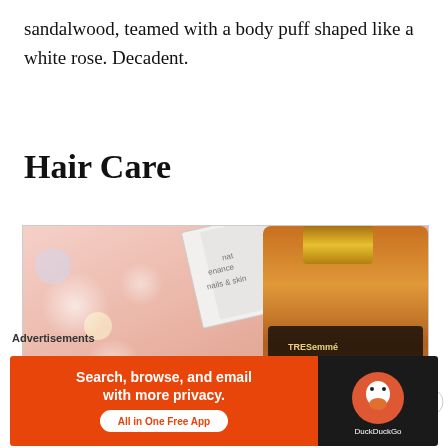sandalwood, teamed with a body puff shaped like a white rose. Decadent.
Hair Care
[Figure (photo): Close-up photo of beauty/hair care products including a TRESemmé Expert Selection Liquid Gold hair oil bottle with gold cap, a white product box with text 'nails & skin', a red berry/candy, bokeh light effects, and a blue tube, all on a pink background.]
Advertisements
[Figure (infographic): DuckDuckGo advertisement banner on orange background reading 'Search, browse, and email with more privacy. All in One Free App' with DuckDuckGo logo on dark right panel.]